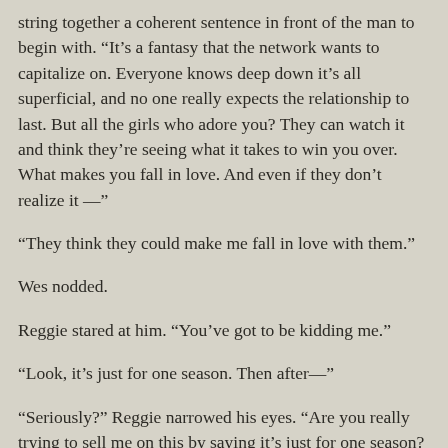string together a coherent sentence in front of the man to begin with. “It’s a fantasy that the network wants to capitalize on. Everyone knows deep down it’s all superficial, and no one really expects the relationship to last. But all the girls who adore you? They can watch it and think they’re seeing what it takes to win you over. What makes you fall in love. And even if they don’t realize it —”
“They think they could make me fall in love with them.”
Wes nodded.
Reggie stared at him. “You’ve got to be kidding me.”
“Look, it’s just for one season. Then after—”
“Seriously?” Reggie narrowed his eyes. “Are you really trying to sell me on this by saying it’s just for one season? You’re asking me